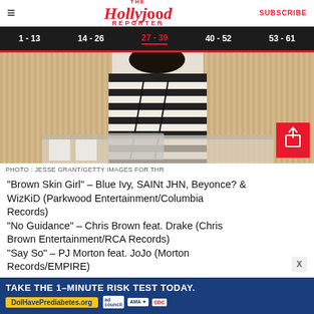The Hollywood Reporter | SUBSCRIBE
1 - 13  14 - 26  27 - 39  40 - 52  53 - 61
[Figure (photo): Person in striped black and white shirt photographed from behind, standing at a table. Woven/decorative background. Share icon overlay in red box at bottom right.]
PHOTO : JESSE GRANT/GETTY IMAGES FOR THR
"Brown Skin Girl" – Blue Ivy, SAINt JHN, Beyonce? & WizKiD (Parkwood Entertainment/Columbia Records)
"No Guidance" – Chris Brown feat. Drake (Chris Brown Entertainment/RCA Records)
"Say So" – PJ Morton feat. JoJo (Morton Records/EMPIRE)
[Figure (infographic): Advertisement banner: TAKE THE 1-MINUTE RISK TEST TODAY. DolHavePrediabetes.org with ad council, AMA, and CDC logos.]